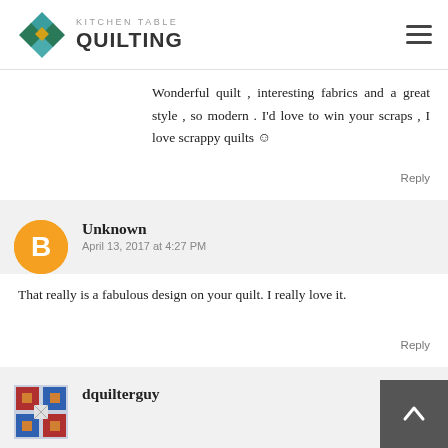Kitchen Table Quilting
Wonderful quilt , interesting fabrics and a great style , so modern . I'd love to win your scraps , I love scrappy quilts ☺
Reply
Unknown
April 13, 2017 at 4:27 PM
That really is a fabulous design on your quilt. I really love it.
Reply
dquilterguy